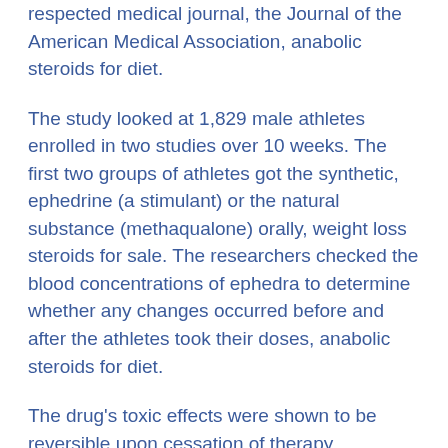respected medical journal, the Journal of the American Medical Association, anabolic steroids for diet.
The study looked at 1,829 male athletes enrolled in two studies over 10 weeks. The first two groups of athletes got the synthetic, ephedrine (a stimulant) or the natural substance (methaqualone) orally, weight loss steroids for sale. The researchers checked the blood concentrations of ephedra to determine whether any changes occurred before and after the athletes took their doses, anabolic steroids for diet.
The drug's toxic effects were shown to be reversible upon cessation of therapy, according to the paper which was co-authored by R, weight loss clenbuterol results0. Stephen Smith of Yale-New Haven Hospital, Prof. H.